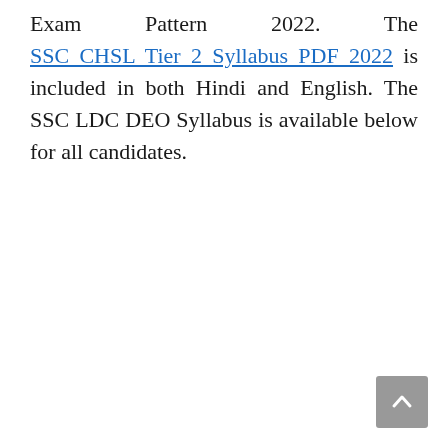Exam Pattern 2022. The SSC CHSL Tier 2 Syllabus PDF 2022 is included in both Hindi and English. The SSC LDC DEO Syllabus is available below for all candidates.